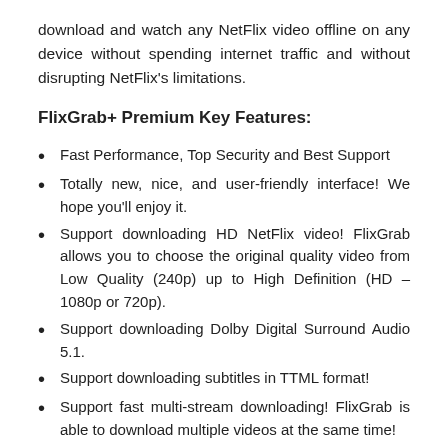download and watch any NetFlix video offline on any device without spending internet traffic and without disrupting NetFlix's limitations.
FlixGrab+ Premium Key Features:
Fast Performance, Top Security and Best Support
Totally new, nice, and user-friendly interface! We hope you'll enjoy it.
Support downloading HD NetFlix video! FlixGrab allows you to choose the original quality video from Low Quality (240p) up to High Definition (HD – 1080p or 720p).
Support downloading Dolby Digital Surround Audio 5.1.
Support downloading subtitles in TTML format!
Support fast multi-stream downloading! FlixGrab is able to download multiple videos at the same time!
Automatic selection of the optimal voice quality and...